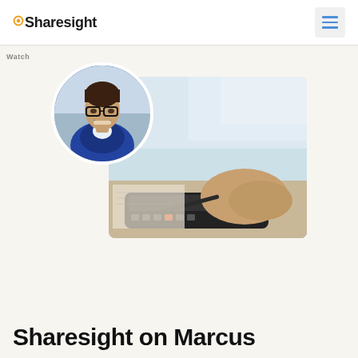Sharesight
Watch
[Figure (photo): Composite image: circular portrait of a smiling man in a blue suit and glasses overlaid on a background photo of a person's hands using a calculator on a desk with financial papers]
Sharesight on Marcus